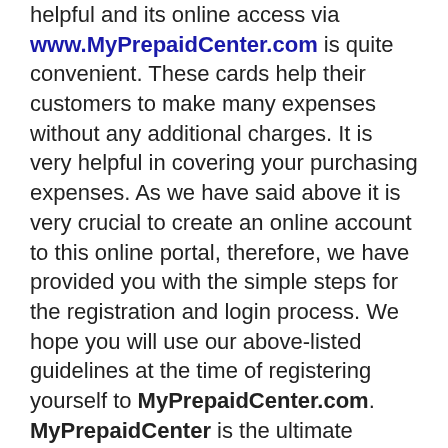helpful and its online access via www.MyPrepaidCenter.com is quite convenient. These cards help their customers to make many expenses without any additional charges. It is very helpful in covering your purchasing expenses. As we have said above it is very crucial to create an online account to this online portal, therefore, we have provided you with the simple steps for the registration and login process. We hope you will use our above-listed guidelines at the time of registering yourself to MyPrepaidCenter.com. MyPrepaidCenter is the ultimate solution for most of your financial requirements, so if you are thinking to apply for it, you are making the right choice.